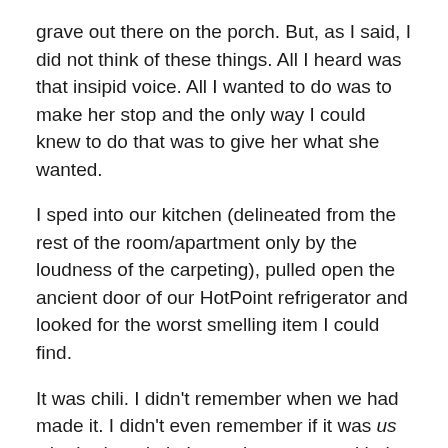grave out there on the porch.  But, as I said, I did not think of these things.  All I heard was that insipid voice.  All I wanted to do was to make her stop and the only way I could knew to do that was to give her what she wanted.
I sped into our kitchen (delineated from the rest of the room/apartment only by the loudness of the carpeting), pulled open the ancient door of our HotPoint refrigerator and looked for the worst smelling item I could find.
It was chili.  I didn't remember when we had made it.  I didn't even remember if it was us who had made it.  It may have come with the apartment.  But it had a smell that resembled old meat and that's what I needed.
I bounded back to the front door where Sheila was keeping up a running pitter-patter of insane-sounding